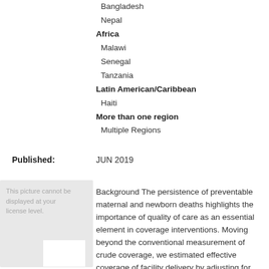Bangladesh
Nepal
Africa
Malawi
Senegal
Tanzania
Latin American/Caribbean
Haiti
More than one region
Multiple Regions
Published:
JUN 2019
Background The persistence of preventable maternal and newborn deaths highlights the importance of quality of care as an essential element in coverage interventions. Moving beyond the conventional measurement of crude coverage, we estimated effective coverage of facility delivery by adjusting for facility preparedness to provide delivery services in Bangladesh, Haiti, Malawi, Nepal, Senegal, and Tanzania. Methods The study uses data from Demographic and Health Surveys (DHS)